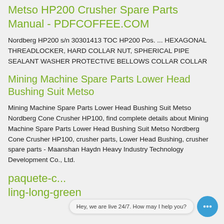Metso HP200 Crusher Spare Parts Manual - PDFCOFFEE.COM
Nordberg HP200 s/n 30301413 TOC HP200 Pos. ... HEXAGONAL THREADLOCKER, HARD COLLAR NUT, SPHERICAL PIPE SEALANT WASHER PROTECTIVE BELLOWS COLLAR COLLAR
Mining Machine Spare Parts Lower Head Bushing Suit Metso
Mining Machine Spare Parts Lower Head Bushing Suit Metso Nordberg Cone Crusher HP100, find complete details about Mining Machine Spare Parts Lower Head Bushing Suit Metso Nordberg Cone Crusher HP100, crusher parts, Lower Head Bushing, crusher spare parts - Maanshan Haydn Heavy Industry Technology Development Co., Ltd.
paquete-c... ling-long-green